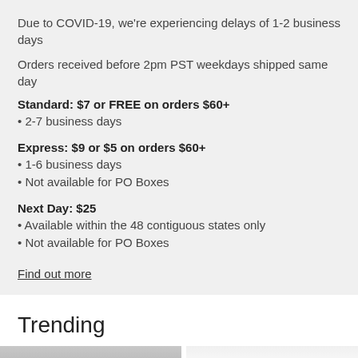Due to COVID-19, we're experiencing delays of 1-2 business days
Orders received before 2pm PST weekdays shipped same day
Standard: $7 or FREE on orders $60+
2-7 business days
Express: $9 or $5 on orders $60+
1-6 business days
Not available for PO Boxes
Next Day: $25
Available within the 48 contiguous states only
Not available for PO Boxes
Find out more
Trending
[Figure (photo): Two product/fashion photos side by side showing people wearing clothing. Left image shows person in dark top, right image shows person in white top and dark pants. Overlay pill button reads 'Get 20% Off' with an X close button.]